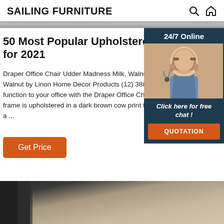SAILING FURNITURE
50 Most Popular Upholstered Office Chairs for 2021
Draper Office Chair Udder Madness Milk, Walnut Wood Walnut by Linon Home Decor Products (12) 388. Add function to your office with the Draper Office Chair. The frame is upholstered in a dark brown cow print fabric a ...
Get Price
[Figure (photo): Customer service representative with headset, 24/7 Online chat widget with QUOTATION button]
[Figure (photo): Bottom partial image of furniture product]